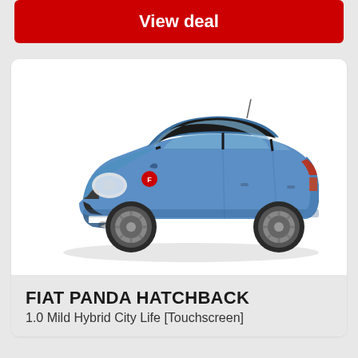View deal
[Figure (photo): Blue Fiat Panda Hatchback car shown in three-quarter front view against white background]
FIAT PANDA HATCHBACK
1.0 Mild Hybrid City Life [Touchscreen]